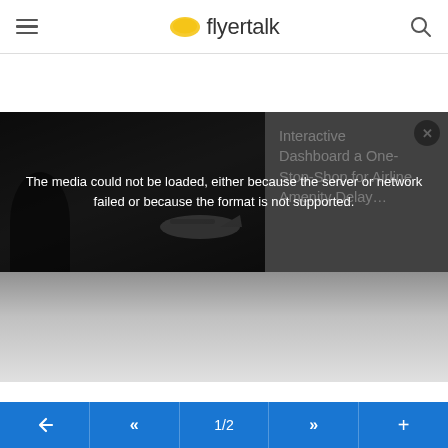flyertalk
[Figure (screenshot): Video player area showing a media error message overlay. The background shows a dark image of a person and an airplane. On the right side, white text reads: Interactive Dashboard a One-Stop-Shop for Airline Amenity Delay... An error overlay reads: The media could not be loaded, either because the server or network failed or because the format is not supported. A large X close button is visible in the center.]
#6
Pianoman109876 , May 25, 22 9:03 am
Nothing for me.
1/2